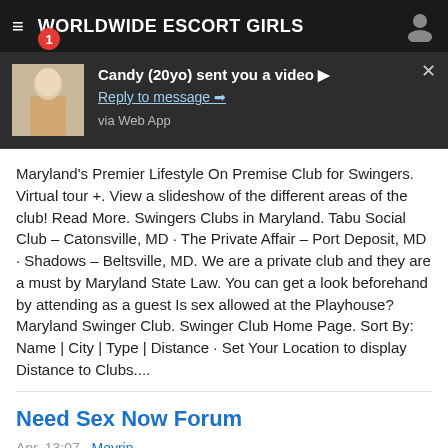WORLDWIDE ESCORT GIRLS
[Figure (screenshot): Notification popup showing a thumbnail of a woman, bold text 'Candy (20yo) sent you a video ▶', a link 'Reply to message ➡', and text 'via Web App'. A close X button is in the top right.]
Maryland's Premier Lifestyle On Premise Club for Swingers. Virtual tour +. View a slideshow of the different areas of the club! Read More. Swingers Clubs in Maryland. Tabu Social Club – Catonsville, MD · The Private Affair – Port Deposit, MD · Shadows – Beltsville, MD. We are a private club and they are a must by Maryland State Law. You can get a look beforehand by attending as a guest Is sex allowed at the Playhouse? Maryland Swinger Club. Swinger Club Home Page. Sort By: Name | City | Type | Distance · Set Your Location to display Distance to Clubs....
Need Sex Now Forum
Apr. 13:07 · Meyrin
I've been with my wife for 25 years and been married for almost 15